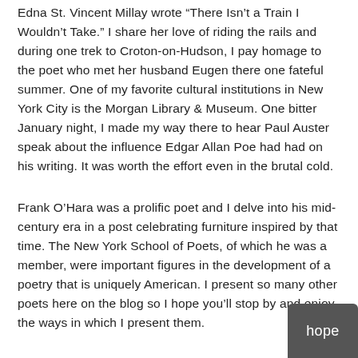Edna St. Vincent Millay wrote “There Isn’t a Train I Wouldn’t Take.” I share her love of riding the rails and during one trek to Croton-on-Hudson, I pay homage to the poet who met her husband Eugen there one fateful summer. One of my favorite cultural institutions in New York City is the Morgan Library & Museum. One bitter January night, I made my way there to hear Paul Auster speak about the influence Edgar Allan Poe had had on his writing. It was worth the effort even in the brutal cold.
Frank O’Hara was a prolific poet and I delve into his mid-century era in a post celebrating furniture inspired by that time. The New York School of Poets, of which he was a member, were important figures in the development of a poetry that is uniquely American. I present so many other poets here on the blog so I hope you’ll stop by and enjoy the ways in which I present them.